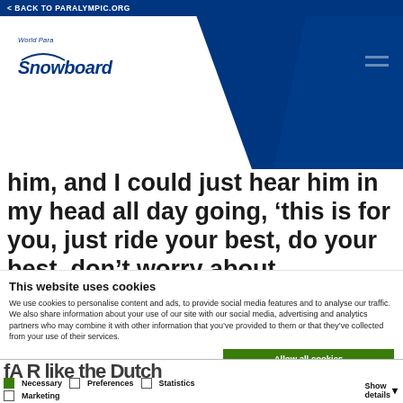< BACK TO PARALYMPIC.ORG
[Figure (logo): World Para Snowboard logo with arc and italic text on white diagonal background with dark blue header band and hamburger menu icon]
him, and I could just hear him in my head all day going, ‘this is for you, just ride your best, do your best, don’t worry about anything else’
This website uses cookies
We use cookies to personalise content and ads, to provide social media features and to analyse our traffic. We also share information about your use of our site with our social media, advertising and analytics partners who may combine it with other information that you’ve provided to them or that they’ve collected from your use of their services.
Allow all cookies
Allow selection
Use necessary cookies on
fA R like the Dutch
Necessary  Preferences  Statistics  Marketing  Show details